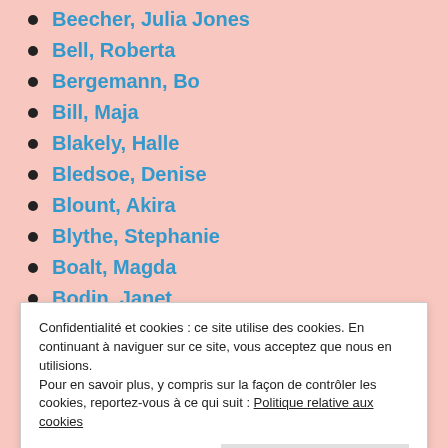Beecher, Julia Jones
Bell, Roberta
Bergemann, Bo
Bill, Maja
Blakely, Halle
Bledsoe, Denise
Blount, Akira
Blythe, Stephanie
Boalt, Magda
Bodin, Janet
Confidentialité et cookies : ce site utilise des cookies. En continuant à naviguer sur ce site, vous acceptez que nous en utilisions.
Pour en savoir plus, y compris sur la façon de contrôler les cookies, reportez-vous à ce qui suit : Politique relative aux cookies
Brindles, Frances